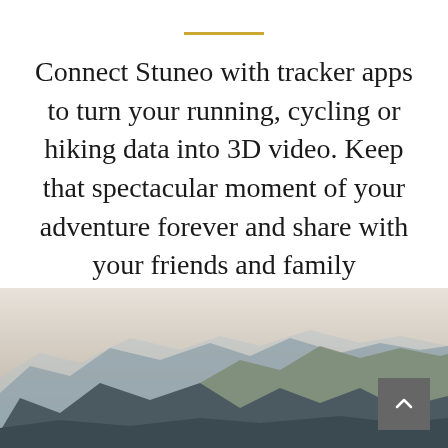Connect Stuneo with tracker apps to turn your running, cycling or hiking data into 3D video. Keep that spectacular moment of your adventure forever and share with your friends and family
[Figure (photo): Mountain range landscape with layered blue-grey peaks fading into a hazy sky, viewed from above. A dark grey scroll-to-top button with an upward chevron arrow is visible in the bottom-right corner.]